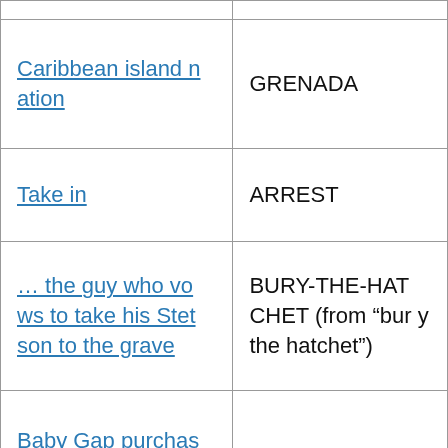| Clue | Answer |
| --- | --- |
| Caribbean island nation | GRENADA |
| Take in | ARREST |
| … the guy who vows to take his Stetson to the grave | BURY-THE-HATCHET (from "bury the hatchet") |
| Baby Gap purchase | ONESIE |